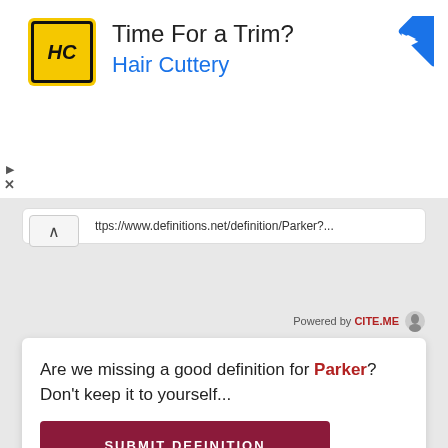[Figure (advertisement): Advertisement banner for Hair Cuttery with yellow HC logo, text 'Time For a Trim?' and 'Hair Cuttery' in blue, and a blue navigation diamond icon on the right]
ttps://www.definitions.net/definition/Parker?...
Powered by CITE.ME
Are we missing a good definition for Parker? Don't keep it to yourself...
SUBMIT DEFINITION